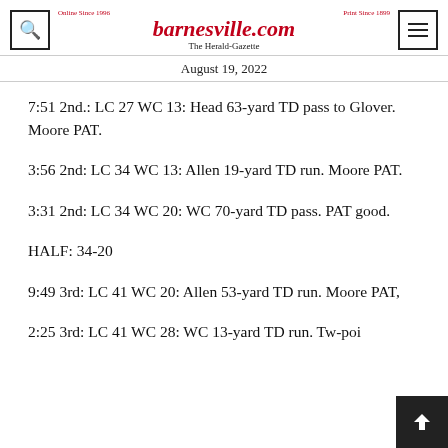barnesville.com — The Herald-Gazette — Online Since 1996 — Print Since 1899
August 19, 2022
7:51 2nd.: LC 27 WC 13: Head 63-yard TD pass to Glover. Moore PAT.
3:56 2nd: LC 34 WC 13: Allen 19-yard TD run. Moore PAT.
3:31 2nd: LC 34 WC 20: WC 70-yard TD pass. PAT good.
HALF: 34-20
9:49 3rd: LC 41 WC 20: Allen 53-yard TD run. Moore PAT,
2:25 3rd: LC 41 WC 28: WC 13-yard TD run. Tw-poi PAT good